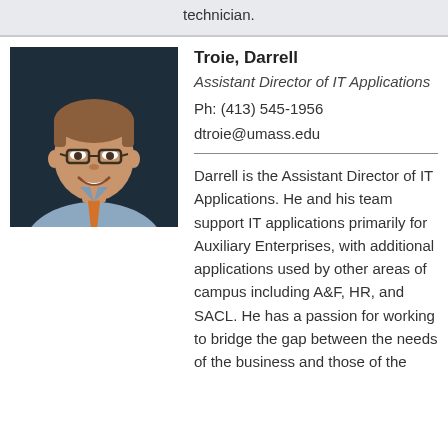technician.
[Figure (photo): Professional headshot photo of Darrell Troie, a man wearing glasses, a light blue shirt, and orange tie, with dark background.]
Troie, Darrell
Assistant Director of IT Applications
Ph: (413) 545-1956
dtroie@umass.edu
Darrell is the Assistant Director of IT Applications. He and his team support IT applications primarily for Auxiliary Enterprises, with additional applications used by other areas of campus including A&F, HR, and SACL. He has a passion for working to bridge the gap between the needs of the business and those of the